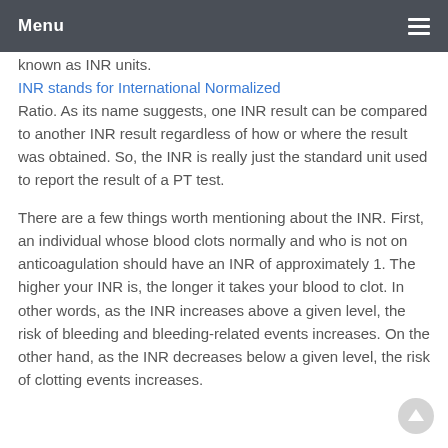Menu
known as INR units.
INR stands for International Normalized Ratio. As its name suggests, one INR result can be compared to another INR result regardless of how or where the result was obtained. So, the INR is really just the standard unit used to report the result of a PT test.
There are a few things worth mentioning about the INR. First, an individual whose blood clots normally and who is not on anticoagulation should have an INR of approximately 1. The higher your INR is, the longer it takes your blood to clot. In other words, as the INR increases above a given level, the risk of bleeding and bleeding-related events increases. On the other hand, as the INR decreases below a given level, the risk of clotting events increases.